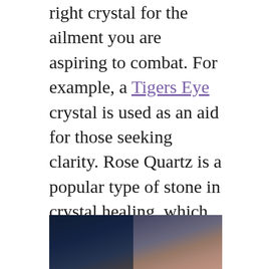right crystal for the ailment you are aspiring to combat. For example, a Tigers Eye crystal is used as an aid for those seeking clarity. Rose Quartz is a popular type of stone in crystal healing, which is used as a tool to nurture calming and instigate romance, while Lapis Lazuli is said to expand awareness and help us attune to our intuition. Lapis Lazuli was prized by the Ancient Egyptians who believed this crystal protected them from the evil eye. If you are serious about practising crystal healing on others, it would be wise to have a diverse range of crystals in order to be able to target and relief different conditions.
[Figure (photo): Partial photo visible at bottom of page showing dark blue and skin-tone colors, likely a person with crystals.]